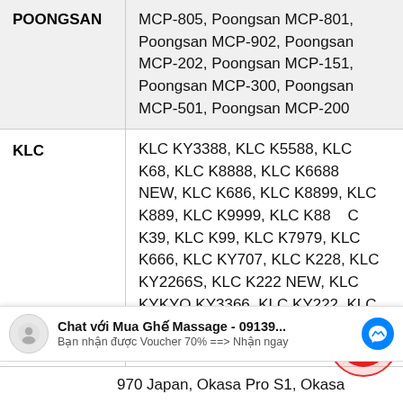| Brand | Models |
| --- | --- |
| POONGSAN | Poongsan MCP-805, Poongsan MCP-801, Poongsan MCP-902, Poongsan MCP-202, Poongsan MCP-151, Poongsan MCP-300, Poongsan MCP-501, Poongsan MCP-200 |
| KLC | KLC KY3388, KLC K5588, KLC K68, KLC K8888, KLC K6688 NEW, KLC K686, KLC K8899, KLC K889, KLC K9999, KLC K88C K39, KLC K99, KLC K7979, KLC K666, KLC KY707, KLC K228, KLC KY2266S, KLC K222 NEW, KLC KYKYO KY3366, KLC KY222, KLC K2266, KLC K6868S, KLC |
Chat với Mua Ghế Massage - 09139... Bạn nhận được Voucher 70% ==> Nhận ngay
970 Japan, Okasa Pro S1, Okasa